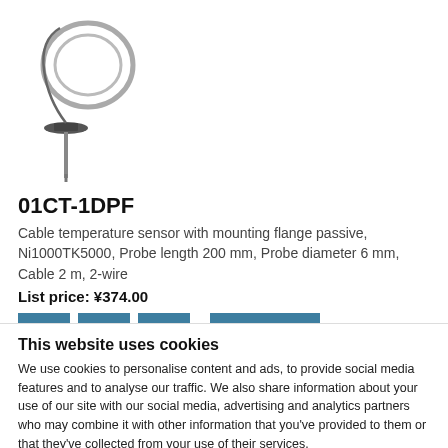[Figure (photo): Cable temperature sensor with mounting flange, coiled cable product photo]
01CT-1DPF
Cable temperature sensor with mounting flange passive, Ni1000TK5000, Probe length 200 mm, Probe diameter 6 mm, Cable 2 m, 2-wire
List price: ¥374.00
This website uses cookies
We use cookies to personalise content and ads, to provide social media features and to analyse our traffic. We also share information about your use of our site with our social media, advertising and analytics partners who may combine it with other information that you've provided to them or that they've collected from your use of their services.
Allow selection | Allow all cookies
Necessary  Preferences  Statistics  Marketing  Show details